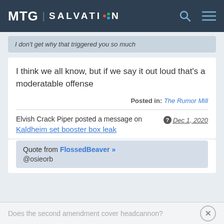MTG | SALVATION
I don't get why that triggered you so much
I think we all know, but if we say it out loud that's a moderatable offense
Posted in: The Rumor Mill
Elvish Crack Piper posted a message on Dec 1, 2020
Kaldheim set booster box leak
Quote from FlossedBeaver »
@osieorb
Does the second amendment cover headcannon?